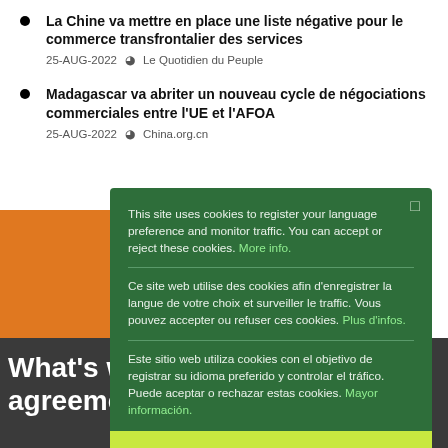La Chine va mettre en place une liste négative pour le commerce transfrontalier des services
25-AUG-2022  Le Quotidien du Peuple
Madagascar va abriter un nouveau cycle de négociations commerciales entre l'UE et l'AFOA
25-AUG-2022  China.org.cn
This site uses cookies to register your language preference and monitor traffic. You can accept or reject these cookies. More info.

Ce site web utilise des cookies afin d'enregistrer la langue de votre choix et surveiller le traffic. Vous pouvez accepter ou refuser ces cookies. Plus d'infos.

Este sitio web utiliza cookies con el objetivo de registrar su idioma preferido y controlar el tráfico. Puede aceptar o rechazar estas cookies. Mayor información.
Ok
What's wrong with free trade agreements?